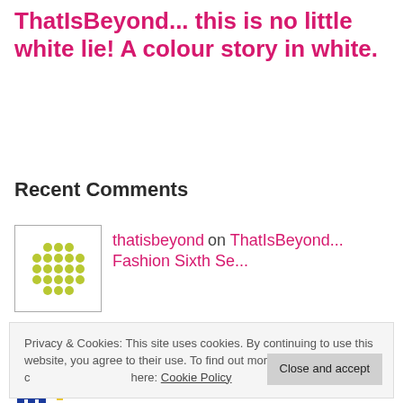ThatIsBeyond... this is no little white lie! A colour story in white.
Recent Comments
thatisbeyond on ThatIsBeyond... Fashion Sixth Se...
Privacy & Cookies: This site uses cookies. By continuing to use this website, you agree to their use. To find out more, including how to control cookies, see here: Cookie Policy
ThatIsBeyond... Back to Bl...